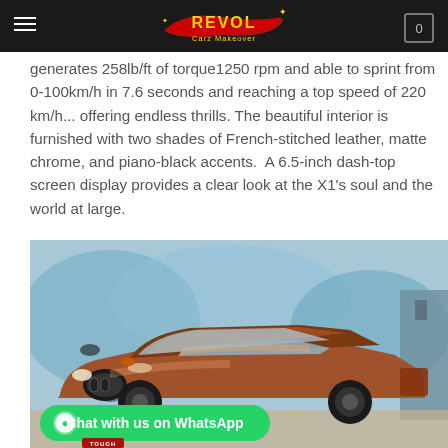REVOL Carz Makeover
generates 258lb/ft of torque1250 rpm and able to sprint from 0-100km/h in 7.6 seconds and reaching a top speed of 220 km/h... offering endless thrills. The beautiful interior is furnished with two shades of French-stitched leather, matte chrome, and piano-black accents. A 6.5-inch dash-top screen display provides a clear look at the X1’s soul and the world at large.
[Figure (photo): Orange BMW X1 SUV parked in a garage/showroom with colorful graffiti mural background. WhatsApp chat button overlay at bottom left, TOUGH label at bottom.]